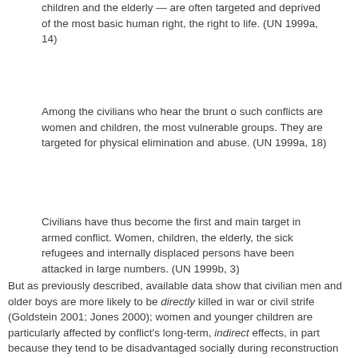children and the elderly — are often targeted and deprived of the most basic human right, the right to life. (UN 1999a, 14)
Among the civilians who hear the brunt o such conflicts are women and children, the most vulnerable groups. They are targeted for physical elimination and abuse. (UN 1999a, 18)
Civilians have thus become the first and main target in armed conflict. Women, children, the elderly, the sick refugees and internally displaced persons have been attacked in large numbers. (UN 1999b, 3)
But as previously described, available data show that civilian men and older boys are more likely to be directly killed in war or civil strife (Goldstein 2001; Jones 2000); women and younger children are particularly affected by conflict's long-term, indirect effects, in part because they tend to be disadvantaged socially during reconstruction (Cockhurn and